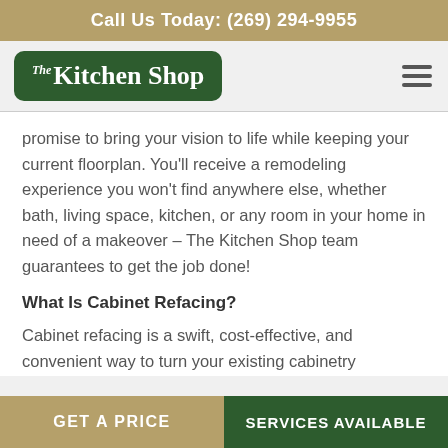Call Us Today: (269) 294-9955
[Figure (logo): The Kitchen Shop logo — white text on dark green rounded rectangle]
promise to bring your vision to life while keeping your current floorplan. You'll receive a remodeling experience you won't find anywhere else, whether bath, living space, kitchen, or any room in your home in need of a makeover – The Kitchen Shop team guarantees to get the job done!
What Is Cabinet Refacing?
Cabinet refacing is a swift, cost-effective, and convenient way to turn your existing cabinetry
GET A PRICE   SERVICES AVAILABLE